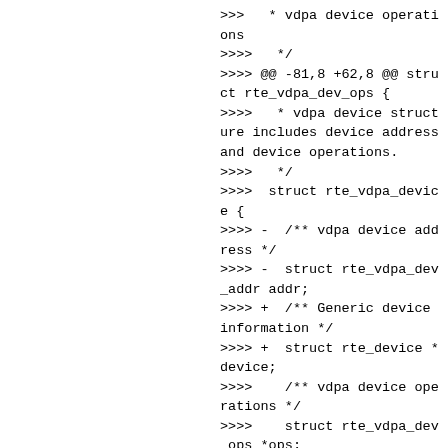>>>>   * vdpa device operations
>>>>   */
>>>> @@ -81,8 +62,8 @@ struct rte_vdpa_dev_ops {
>>>>   * vdpa device structure includes device address and device operations.
>>>>   */
>>>>  struct rte_vdpa_device
{
>>>> -  /** vdpa device address */
>>>> -  struct rte_vdpa_dev_addr addr;
>>>> +  /** Generic device information */
>>>> +  struct rte_device *device;
>>>>    /** vdpa device operations */
>>>>    struct rte_vdpa_dev_ops *ops;
>>>>  } __rte_cache_aligned;
>>>> @@ -102,7 +83,7 @@ struct rte_vdpa_device {
>>>>    */
>>>>   __rte_experimental
>>>>   int